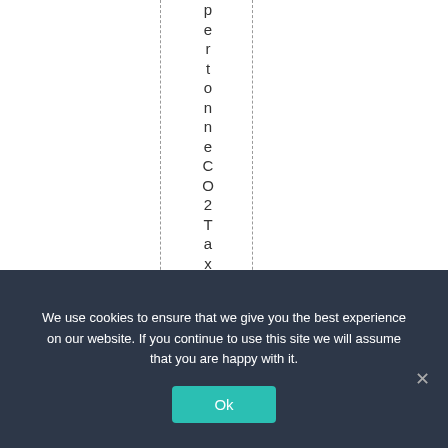per tonne CO2Tax – Aus
We use cookies to ensure that we give you the best experience on our website. If you continue to use this site we will assume that you are happy with it.